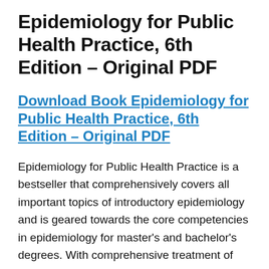Epidemiology for Public Health Practice, 6th Edition – Original PDF
Download Book Epidemiology for Public Health Practice, 6th Edition – Original PDF
Epidemiology for Public Health Practice is a bestseller that comprehensively covers all important topics of introductory epidemiology and is geared towards the core competencies in epidemiology for master's and bachelor's degrees. With comprehensive treatment of the heart of epidemiology – from study designs to descriptive epidemiology to quantitative